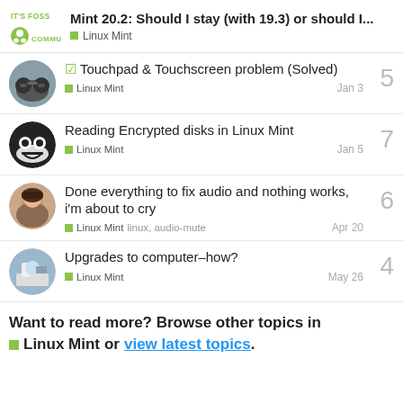IT'S FOSS COMMUNITY – Mint 20.2: Should I stay (with 19.3) or should I… – Linux Mint
Touchpad & Touchscreen problem (Solved) – Linux Mint – Jan 3 – 5 replies
Reading Encrypted disks in Linux Mint – Linux Mint – Jan 5 – 7 replies
Done everything to fix audio and nothing works, i'm about to cry – Linux Mint, linux, audio-mute – Apr 20 – 6 replies
Upgrades to computer–how? – Linux Mint – May 26 – 4 replies
Want to read more? Browse other topics in Linux Mint or view latest topics.